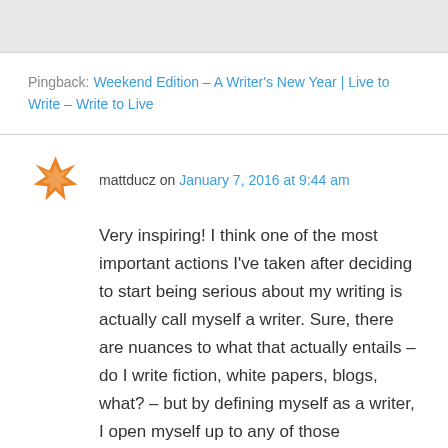[Figure (illustration): Gray bar at top of page]
Pingback: Weekend Edition – A Writer's New Year | Live to Write – Write to Live
mattducz on January 7, 2016 at 9:44 am
Very inspiring! I think one of the most important actions I've taken after deciding to start being serious about my writing is actually call myself a writer. Sure, there are nuances to what that actually entails – do I write fiction, white papers, blogs, what? – but by defining myself as a writer, I open myself up to any of those possibilities, and more! It's not about how much I make, or what I do on a daily basis – it's what I do that